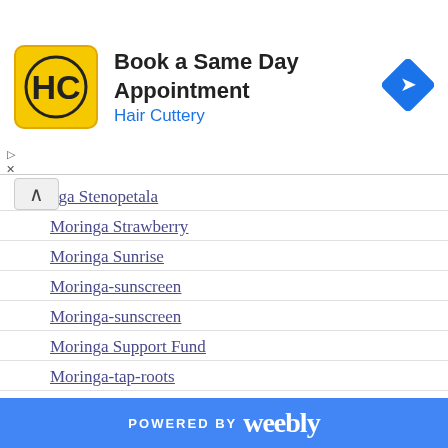[Figure (screenshot): Hair Cuttery advertisement banner with logo, text 'Book a Same Day Appointment', 'Hair Cuttery', and a navigation arrow icon]
nga Stenopetala
Moringa Strawberry
Moringa Sunrise
Moringa-sunscreen
Moringa-sunscreen
Moringa Support Fund
Moringa-tap-roots
Moringa-tea
Moringa-tea
Moringa Tea Kits
Moringa-tea-pots
Moringa Teas
Moringa-the-super-food
POWERED BY weebly